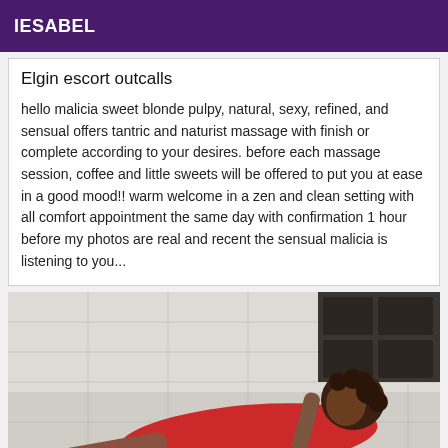IESABEL
Elgin escort outcalls
hello malicia sweet blonde pulpy, natural, sexy, refined, and sensual offers tantric and naturist massage with finish or complete according to your desires. before each massage session, coffee and little sweets will be offered to put you at ease in a good mood!! warm welcome in a zen and clean setting with all comfort appointment the same day with confirmation 1 hour before my photos are real and recent the sensual malicia is listening to you...
[Figure (photo): Photo of a woman in a red outfit lying on a tiled floor]